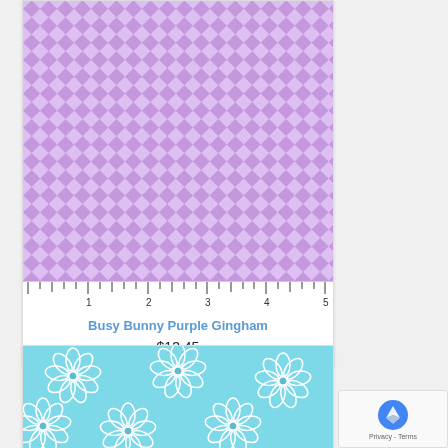[Figure (photo): Purple gingham/plaid fabric swatch with a ruler along the bottom showing measurements 1-5]
Busy Bunny Purple Gingham
$13.45
[Figure (photo): Light blue fabric with white daisy/flower pattern printed on it]
[Figure (other): Google reCAPTCHA badge with Privacy - Terms text]